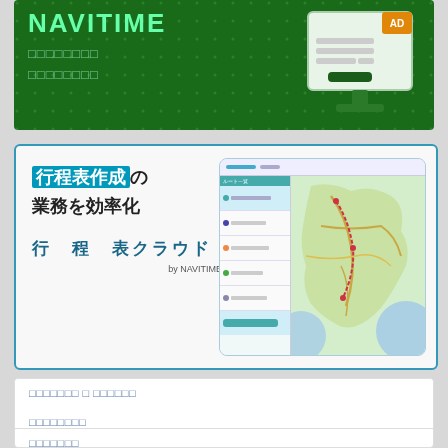[Figure (illustration): NAVITIME green banner advertisement with monitor icon showing AD label, and Japanese text subtitle lines]
[Figure (illustration): Itinerary Cloud (行程表クラウド) advertisement banner by NAVITIME showing app screenshot with map of Japan]
□□□□□□□ □ □□□□□□
□□□□□□□□
□□□□□□□